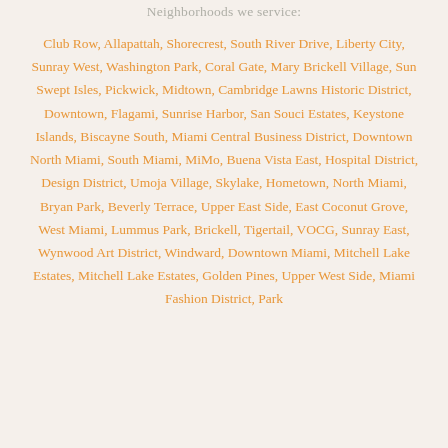Neighborhoods we service:
Club Row, Allapattah, Shorecrest, South River Drive, Liberty City, Sunray West, Washington Park, Coral Gate, Mary Brickell Village, Sun Swept Isles, Pickwick, Midtown, Cambridge Lawns Historic District, Downtown, Flagami, Sunrise Harbor, San Souci Estates, Keystone Islands, Biscayne South, Miami Central Business District, Downtown North Miami, South Miami, MiMo, Buena Vista East, Hospital District, Design District, Umoja Village, Skylake, Hometown, North Miami, Bryan Park, Beverly Terrace, Upper East Side, East Coconut Grove, West Miami, Lummus Park, Brickell, Tigertail, VOCG, Sunray East, Wynwood Art District, Windward, Downtown Miami, Mitchell Lake Estates, Mitchell Lake Estates, Golden Pines, Upper West Side, Miami Fashion District, Park